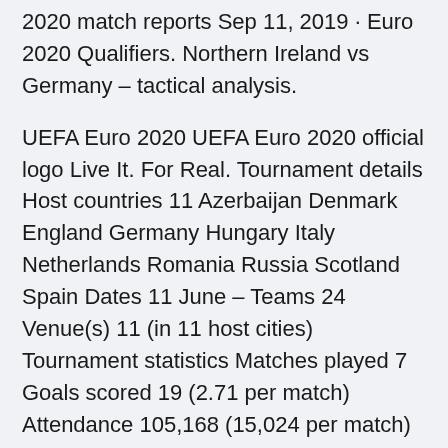2020 match reports Sep 11, 2019 · Euro 2020 Qualifiers. Northern Ireland vs Germany – tactical analysis.
UEFA Euro 2020 UEFA Euro 2020 official logo Live It. For Real. Tournament details Host countries 11 Azerbaijan Denmark England Germany Hungary Italy Netherlands Romania Russia Scotland Spain Dates 11 June – Teams 24 Venue(s) 11 (in 11 host cities) Tournament statistics Matches played 7 Goals scored 19 (2.71 per match) Attendance 105,168 (15,024 per match) Top scorer(s) Romelu Roland Sallai celebrates after scoring during a FIFA World Cup 2022 qualifying match against San Marino. at EURO 2020? All times CEST.
We have Germany Euro 2020 football tickets available for qualifying matches and the matches taking place in